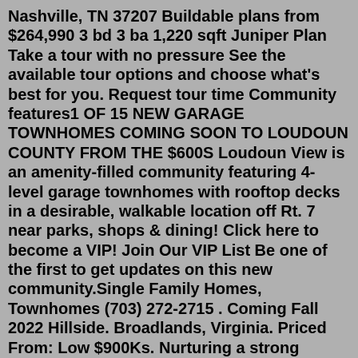Nashville, TN 37207 Buildable plans from $264,990 3 bd 3 ba 1,220 sqft Juniper Plan Take a tour with no pressure See the available tour options and choose what's best for you. Request tour time Community features1 OF 15 NEW GARAGE TOWNHOMES COMING SOON TO LOUDOUN COUNTY FROM THE $600S Loudoun View is an amenity-filled community featuring 4-level garage townhomes with rooftop decks in a desirable, walkable location off Rt. 7 near parks, shops & dining! Click here to become a VIP! Join Our VIP List Be one of the first to get updates on this new community.Single Family Homes, Townhomes (703) 272-2715 . Coming Fall 2022 Hillside. Broadlands, Virginia. Priced From: Low $900Ks. Nurturing a strong connection with nature has never been more vital to our overall well-being. Hillside at Broadlands, Van Metre's newest single-family home neighborhood, is the place to establish that connection.Single Family Homes, Townhomes (703) 272-2715 . Coming Fall 2022 Hillside. Broadlands, Virginia. Priced From: Low $900Ks.